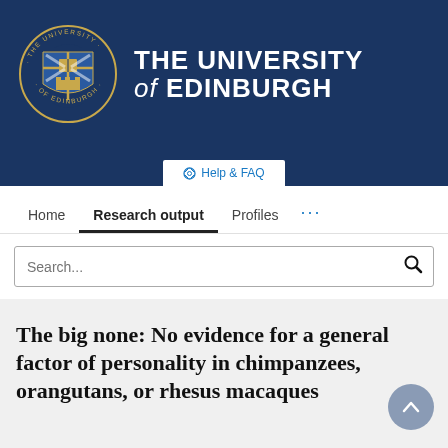[Figure (logo): The University of Edinburgh crest logo — circular emblem on dark navy background alongside university name text]
THE UNIVERSITY of EDINBURGH
⊕ Help & FAQ
Home  Research output  Profiles  ...
Search...
The big none: No evidence for a general factor of personality in chimpanzees, orangutans, or rhesus macaques